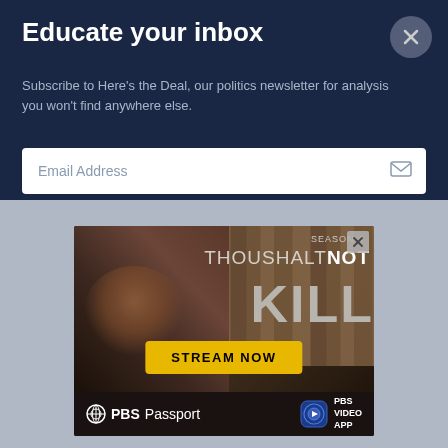Educate your inbox
Subscribe to Here's the Deal, our politics newsletter for analysis you won't find anywhere else.
Email Address
[Figure (screenshot): Advertisement for PBS show 'Thou Shalt Not Kill' Season 4. Features a woman's face, wooden background, show title text, a yellow 'STREAM NOW' button, and logos for PBS Passport and PBS Video App at the bottom.]